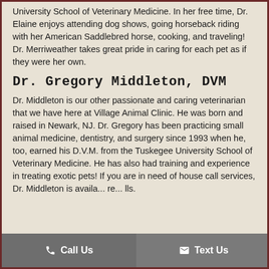University School of Veterinary Medicine. In her free time, Dr. Elaine enjoys attending dog shows, going horseback riding with her American Saddlebred horse, cooking, and traveling! Dr. Merriweather takes great pride in caring for each pet as if they were her own.
Dr. Gregory Middleton, DVM
Dr. Middleton is our other passionate and caring veterinarian that we have here at Village Animal Clinic. He was born and raised in Newark, NJ. Dr. Gregory has been practicing small animal medicine, dentistry, and surgery since 1993 when he, too, earned his D.V.M. from the Tuskegee University School of Veterinary Medicine. He has also had training and experience in treating exotic pets! If you are in need of house call services, Dr. Middleton is available for re... calls.
Call Us   Text Us